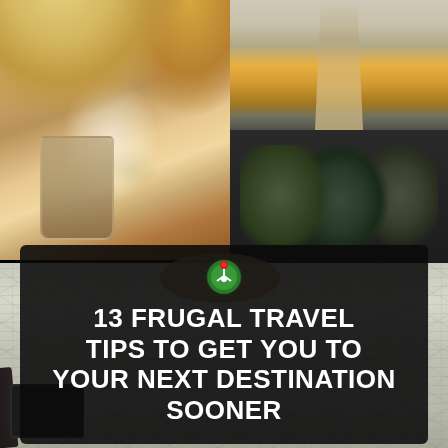[Figure (photo): Collage of travel photos: top-left shows a woman with blonde hair holding an iced drink, top-right shows a long empty road with motion blur, middle-right shows dark suitcase or backpacks packed in a container, bottom shows a person's hands over a travel map with a tablet/device in the corner.]
13 FRUGAL TRAVEL TIPS TO GET YOU TO YOUR NEXT DESTINATION SOONER